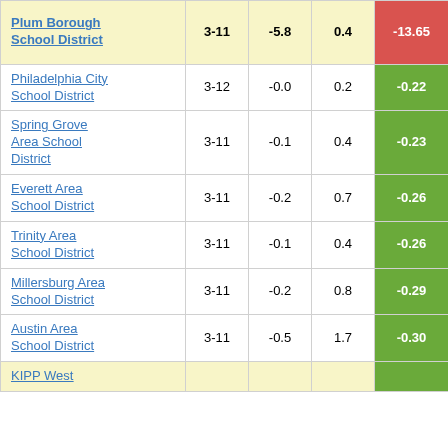| School District | Grades | Col3 | Col4 | Score |
| --- | --- | --- | --- | --- |
| Plum Borough School District | 3-11 | -5.8 | 0.4 | -13.65 |
| Iroquois School District | 3-11 | -0.1 | 0.7 | -0.21 |
| Philadelphia City School District | 3-12 | -0.0 | 0.2 | -0.22 |
| Spring Grove Area School District | 3-11 | -0.1 | 0.4 | -0.23 |
| Everett Area School District | 3-11 | -0.2 | 0.7 | -0.26 |
| Trinity Area School District | 3-11 | -0.1 | 0.4 | -0.26 |
| Millersburg Area School District | 3-11 | -0.2 | 0.8 | -0.29 |
| Austin Area School District | 3-11 | -0.5 | 1.7 | -0.30 |
| KIPP West |  |  |  |  |